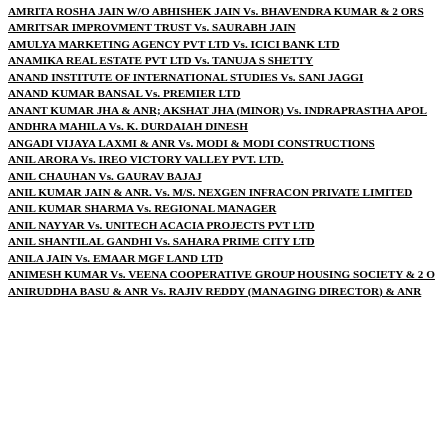AMRITA ROSHA JAIN W/O ABHISHEK JAIN Vs. BHAVENDRA KUMAR & 2 ORS
AMRITSAR IMPROVMENT TRUST Vs. SAURABH JAIN
AMULYA MARKETING AGENCY PVT LTD Vs. ICICI BANK LTD
ANAMIKA REAL ESTATE PVT LTD Vs. TANUJA S SHETTY
ANAND INSTITUTE OF INTERNATIONAL STUDIES Vs. SANI JAGGI
ANAND KUMAR BANSAL Vs. PREMIER LTD
ANANT KUMAR JHA & ANR; AKSHAT JHA (MINOR) Vs. INDRAPRASTHA APOL
ANDHRA MAHILA Vs. K. DURDAIAH DINESH
ANGADI VIJAYA LAXMI & ANR Vs. MODI & MODI CONSTRUCTIONS
ANIL ARORA Vs. IREO VICTORY VALLEY PVT. LTD.
ANIL CHAUHAN Vs. GAURAV BAJAJ
ANIL KUMAR JAIN & ANR. Vs. M/S. NEXGEN INFRACON PRIVATE LIMITED
ANIL KUMAR SHARMA Vs. REGIONAL MANAGER
ANIL NAYYAR Vs. UNITECH ACACIA PROJECTS PVT LTD
ANIL SHANTILAL GANDHI Vs. SAHARA PRIME CITY LTD
ANILA JAIN Vs. EMAAR MGF LAND LTD
ANIMESH KUMAR Vs. VEENA COOPERATIVE GROUP HOUSING SOCIETY & 2 O
ANIRUDDHA BASU & ANR Vs. RAJIV REDDY (MANAGING DIRECTOR) & ANR